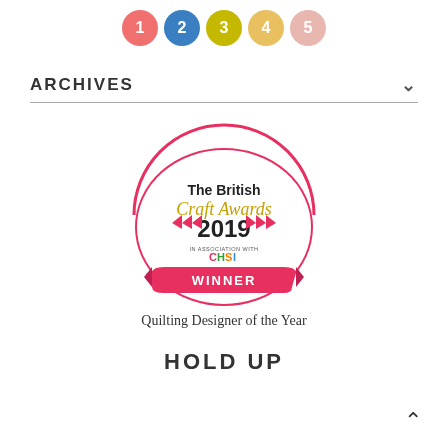[Figure (illustration): Five numbered circles in a row: 1 (salmon/red), 2 (blue), 3 (olive/yellow-green), 4 (gold/tan), 5 (light pink)]
ARCHIVES
[Figure (logo): The British Craft Awards 2019 WINNER badge - Quilting Designer of the Year. Circular badge with red arc at top, pennant bunting, gold 'Craft Awards' text, '2019' in dark, 'IN ASSOCIATION WITH CHSI' text, and red ribbon banner at bottom with 'WINNER' in white.]
Quilting Designer of the Year
HOLD UP